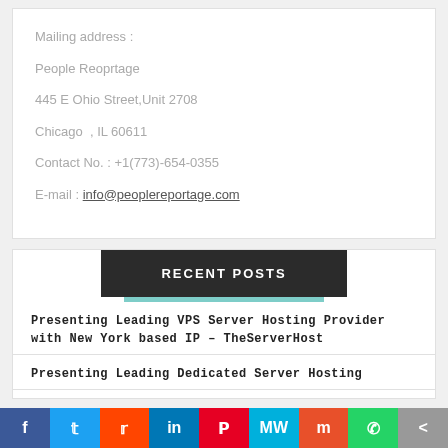Mailing address :
People Reoprtage
445 E Ohio Street,Unit 2708
Chicago  , IL 60611
Contact No. : +1(773)-654-0355
E-mail :  info@peoplereportage.com
RECENT POSTS
Presenting Leading VPS Server Hosting Provider with New York based IP – TheServerHost
Presenting Leading Dedicated Server Hosting